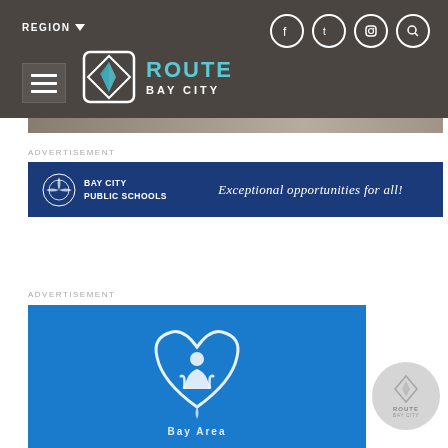REGION ▾ — Route Bay City navigation bar with social icons (Facebook, Twitter, Instagram, Search)
[Figure (screenshot): Partial image strip/banner photo below nav bar]
ADVERTISEMENT
[Figure (logo): Bay City Public Schools advertisement banner — dark blue background with Bay City Public Schools logo on left and script text 'Exceptional opportunities for all!' on right]
ADVERTISEMENT
[Figure (logo): Advertisement banner with bright blue background showing a white heart/people logo and partial text below]